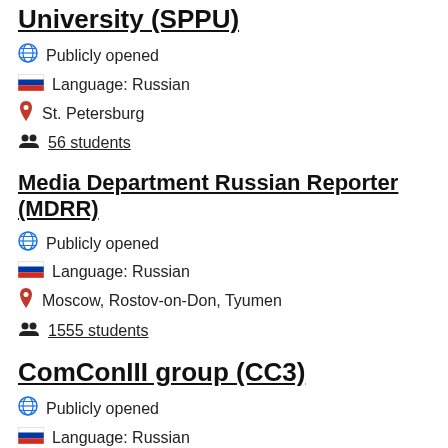University (SPPU)
Publicly opened
Language: Russian
St. Petersburg
56 students
Media Department Russian Reporter (MDRR)
Publicly opened
Language: Russian
Moscow, Rostov-on-Don, Tyumen
1555 students
ComConIII group (CC3)
Publicly opened
Language: Russian
Minsk (Belarus)
38 students